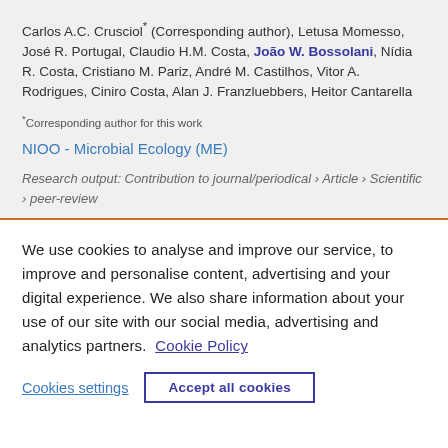Carlos A.C. Crusciol* (Corresponding author), Letusa Momesso, José R. Portugal, Claudio H.M. Costa, João W. Bossolani, Nídia R. Costa, Cristiano M. Pariz, André M. Castilhos, Vitor A. Rodrigues, Ciniro Costa, Alan J. Franzluebbers, Heitor Cantarella
*Corresponding author for this work
NIOO - Microbial Ecology (ME)
Research output: Contribution to journal/periodical › Article › Scientific › peer-review
We use cookies to analyse and improve our service, to improve and personalise content, advertising and your digital experience. We also share information about your use of our site with our social media, advertising and analytics partners.  Cookie Policy
Cookies settings
Accept all cookies